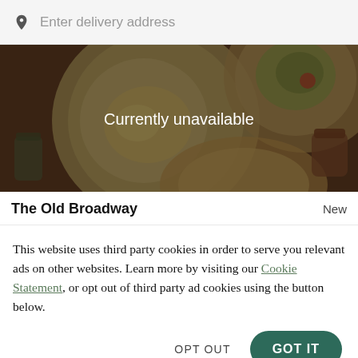Enter delivery address
[Figure (photo): Overhead view of food dishes on a dark wooden table, shown with a dark overlay. Text overlay reads 'Currently unavailable'.]
The Old Broadway
New
This website uses third party cookies in order to serve you relevant ads on other websites. Learn more by visiting our Cookie Statement, or opt out of third party ad cookies using the button below.
OPT OUT
GOT IT